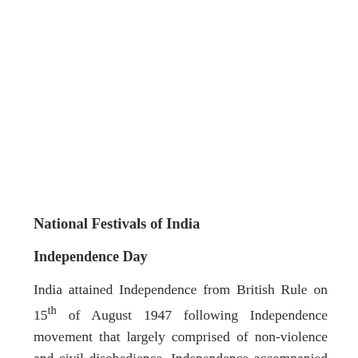National Festivals of India
Independence Day
India attained Independence from British Rule on 15th of August 1947 following Independence movement that largely comprised of non-violence and civil disobedience. Independence accompanied the partition of India on religious lines in two